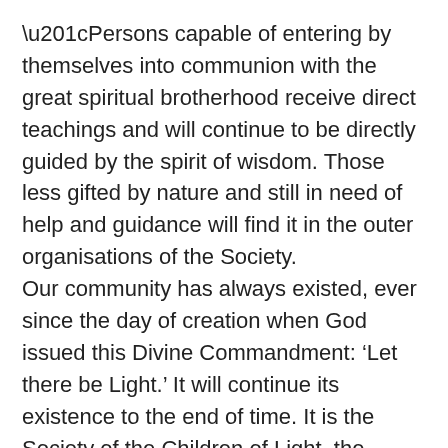“Persons capable of entering by themselves into communion with the great spiritual brotherhood receive direct teachings and will continue to be directly guided by the spirit of wisdom. Those less gifted by nature and still in need of help and guidance will find it in the outer organisations of the Society.
Our community has always existed, ever since the day of creation when God issued this Divine Commandment: ‘Let there be Light.’ It will continue its existence to the end of time. It is the Society of the Children of Light, the society of those who live in Light.
“In our School, we receive the direct guidance of Divine Wisdom, the will of which is free, and its disciples are chosen amongst its devotees.
The mysteries taught to us comprise all that it is possible